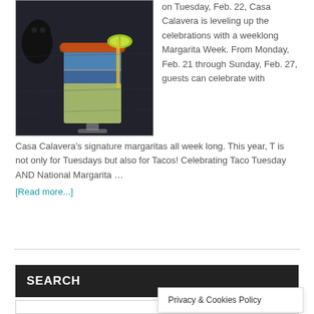[Figure (photo): Photo of a colorful margarita cocktail with layered blue and yellow colors, rimmed with chili salt, garnished with a lime wedge, on a dark background]
on Tuesday, Feb. 22, Casa Calavera is leveling up the celebrations with a weeklong Margarita Week. From Monday, Feb. 21 through Sunday, Feb. 27, guests can celebrate with Casa Calavera's signature margaritas all week long. This year, T is not only for Tuesdays but also for Tacos! Celebrating Taco Tuesday AND National Margarita … [Read more...]
SEARCH
Privacy & Cookies Policy